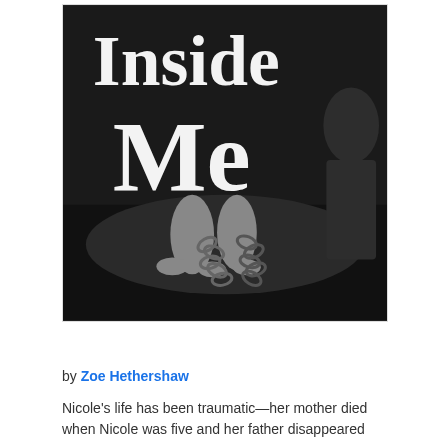[Figure (illustration): Book cover image for 'Inside Me' — black and white photo of feet chained together, with large white serif text reading 'Inside Me' overlaid on the image. Dark, moody background.]
Inside Me
by Zoe Hethershaw
Nicole's life has been traumatic—her mother died when Nicole was five and her father disappeared